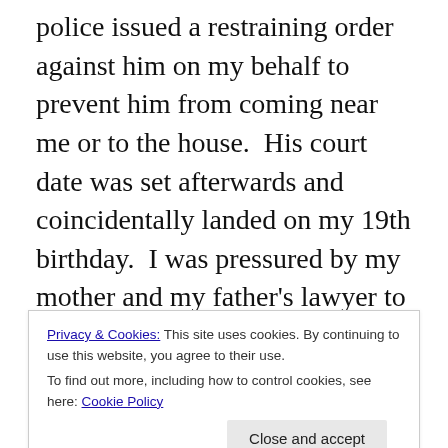police issued a restraining order against him on my behalf to prevent him from coming near me or to the house.  His court date was set afterwards and coincidentally landed on my 19th birthday.  I was pressured by my mother and my father's lawyer to drop the assault charges, which I did, and after going to court, my father was cleared and the restraining order was dropped.  After staying in a hotel by his job for several weeks, my father was allowed to come home.  I do not remember (or chose not to remember) the exact details of that day.  I remember walking into the courthouse with just my mom.  I can recollect speaking to
Privacy & Cookies: This site uses cookies. By continuing to use this website, you agree to their use.
To find out more, including how to control cookies, see here: Cookie Policy
vanilla cake with chocolate frosting and M&Ms?  Did my